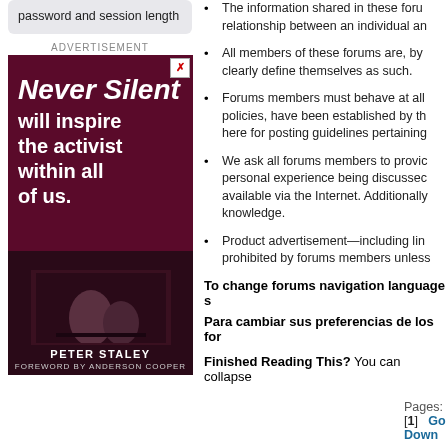password and session length
ADVERTISEMENT
[Figure (illustration): Advertisement for 'Never Silent' book by Peter Staley, foreword by Anderson Cooper. Dark red/maroon background with white bold italic text reading 'Never Silent will inspire the activist within all of us.' Book cover image at bottom showing Peter Staley with foreword by Anderson Cooper.]
The information shared in these foru relationship between an individual an
All members of these forums are, by clearly define themselves as such.
Forums members must behave at all policies, have been established by th here for posting guidelines pertaining
We ask all forums members to provi personal experience being discussed available via the Internet. Additionally knowledge.
Product advertisement—including lin prohibited by forums members unless
To change forums navigation language s
Para cambiar sus preferencias de los for
Finished Reading This? You can collapse
Pages: [1]  Go Down